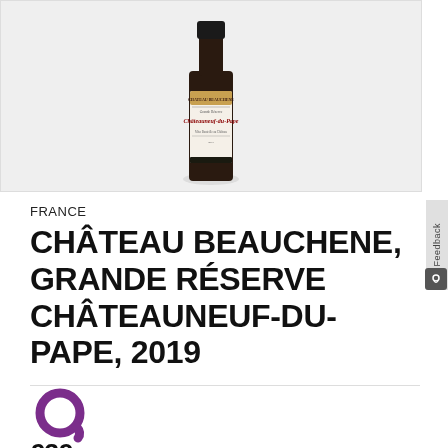[Figure (photo): Wine bottle of Château Beauchene Grande Réserve Châteauneuf-du-Pape 2019 on a light grey background]
FRANCE
CHÂTEAU BEAUCHENE, GRANDE RÉSERVE CHÂTEAUNEUF-DU-PAPE, 2019
€39